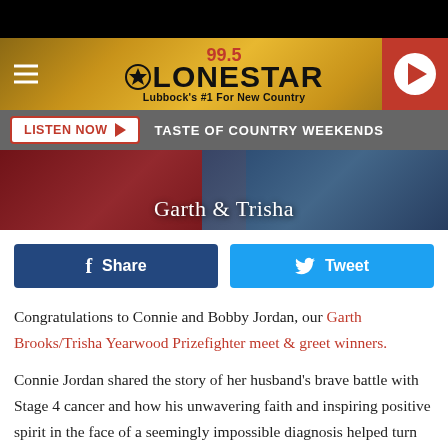[Figure (screenshot): 99.5 Lonestar radio station header banner with golden/amber background, hamburger menu on left, logo in center, red play button on right. Tagline: Lubbock's #1 For New Country]
[Figure (infographic): Listen Now bar with red button and text TASTE OF COUNTRY WEEKENDS]
[Figure (photo): Concert photo showing two performers, with overlay text 'Garth & Trisha']
[Figure (screenshot): Social share buttons: Facebook Share (dark blue) and Tweet (light blue)]
Congratulations to Connie and Bobby Jordan, our Garth Brooks/Trisha Yearwood Prizefighter meet & greet winners.
Connie Jordan shared the story of her husband's brave battle with Stage 4 cancer and how his unwavering faith and inspiring positive spirit in the face of a seemingly impossible diagnosis helped turn the tide and astound and amaze